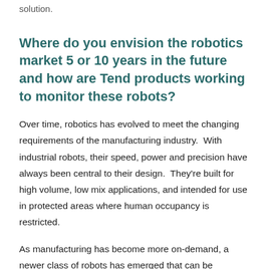solution.
Where do you envision the robotics market 5 or 10 years in the future and how are Tend products working to monitor these robots?
Over time, robotics has evolved to meet the changing requirements of the manufacturing industry.  With industrial robots, their speed, power and precision have always been central to their design.  They're built for high volume, low mix applications, and intended for use in protected areas where human occupancy is restricted.
As manufacturing has become more on-demand, a newer class of robots has emerged that can be